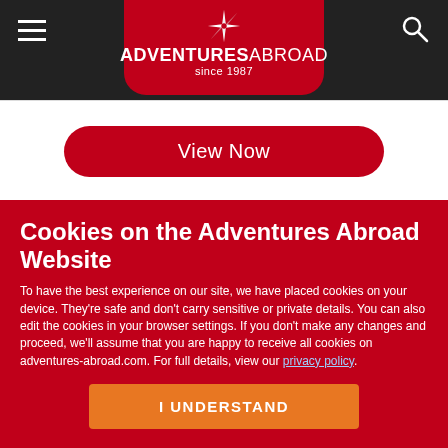[Figure (logo): Adventures Abroad logo with compass star icon and text 'ADVENTURES ABROAD since 1987' on red background trapezoid shape in black navigation bar]
[Figure (other): Red rounded button labeled 'View Now' on white background section]
Cookies on the Adventures Abroad Website
To have the best experience on our site, we have placed cookies on your device. They're safe and don't carry sensitive or private details. You can also edit the cookies in your browser settings. If you don't make any changes and proceed, we'll assume that you are happy to receive all cookies on adventures-abroad.com. For full details, view our privacy policy.
[Figure (other): Orange button labeled 'I UNDERSTAND']